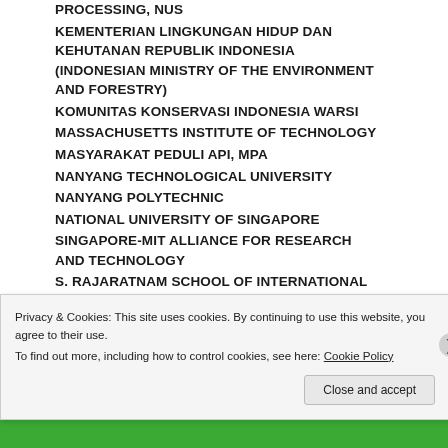PROCESSING, NUS
KEMENTERIAN LINGKUNGAN HIDUP DAN KEHUTANAN REPUBLIK INDONESIA (INDONESIAN MINISTRY OF THE ENVIRONMENT AND FORESTRY)
KOMUNITAS KONSERVASI INDONESIA WARSI
MASSACHUSETTS INSTITUTE OF TECHNOLOGY
MASYARAKAT PEDULI API, MPA
NANYANG TECHNOLOGICAL UNIVERSITY
NANYANG POLYTECHNIC
NATIONAL UNIVERSITY OF SINGAPORE
SINGAPORE-MIT ALLIANCE FOR RESEARCH AND TECHNOLOGY
S. RAJARATNAM SCHOOL OF INTERNATIONAL STUDIES, NTU
Privacy & Cookies: This site uses cookies. By continuing to use this website, you agree to their use. To find out more, including how to control cookies, see here: Cookie Policy
Close and accept